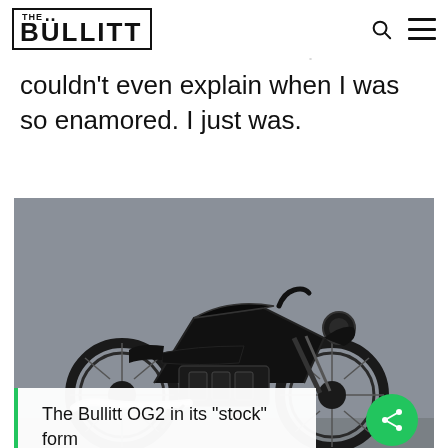THE BULLITT
couldn't even explain when I was so enamored. I just was.
[Figure (photo): A black Bullitt OG2 motorcycle in its stock form, photographed from the side against a grey wall background.]
The Bullitt OG2 in its “stock” form